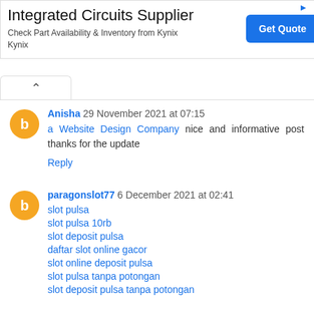[Figure (other): Advertisement banner for Integrated Circuits Supplier - Kynix with a blue Get Quote button]
Anisha 29 November 2021 at 07:15
a Website Design Company nice and informative post thanks for the update
Reply
paragonslot77 6 December 2021 at 02:41
slot pulsa
slot pulsa 10rb
slot deposit pulsa
daftar slot online gacor
slot online deposit pulsa
slot pulsa tanpa potongan
slot deposit pulsa tanpa potongan